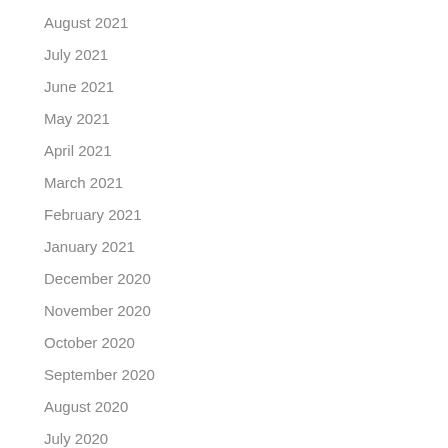August 2021
July 2021
June 2021
May 2021
April 2021
March 2021
February 2021
January 2021
December 2020
November 2020
October 2020
September 2020
August 2020
July 2020